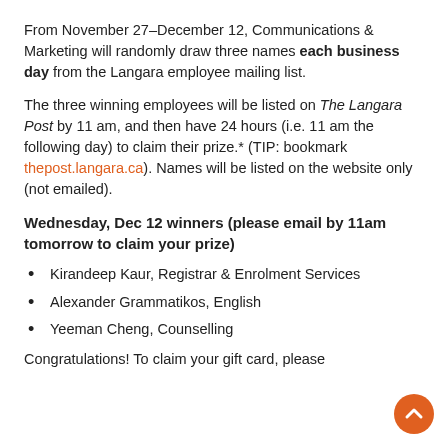From November 27–December 12, Communications & Marketing will randomly draw three names each business day from the Langara employee mailing list.
The three winning employees will be listed on The Langara Post by 11 am, and then have 24 hours (i.e. 11 am the following day) to claim their prize.* (TIP: bookmark thepost.langara.ca). Names will be listed on the website only (not emailed).
Wednesday, Dec 12 winners (please email by 11am tomorrow to claim your prize)
Kirandeep Kaur, Registrar & Enrolment Services
Alexander Grammatikos, English
Yeeman Cheng, Counselling
Congratulations! To claim your gift card, please